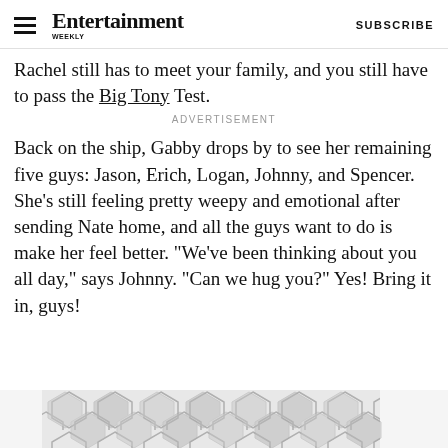Entertainment Weekly — SUBSCRIBE
Rachel still has to meet your family, and you still have to pass the Big Tony Test.
ADVERTISEMENT
Back on the ship, Gabby drops by to see her remaining five guys: Jason, Erich, Logan, Johnny, and Spencer. She's still feeling pretty weepy and emotional after sending Nate home, and all the guys want to do is make her feel better. "We've been thinking about you all day," says Johnny. "Can we hug you?" Yes! Bring it in, guys!
[Figure (other): Geometric hexagonal tile pattern advertisement placeholder in gray tones]